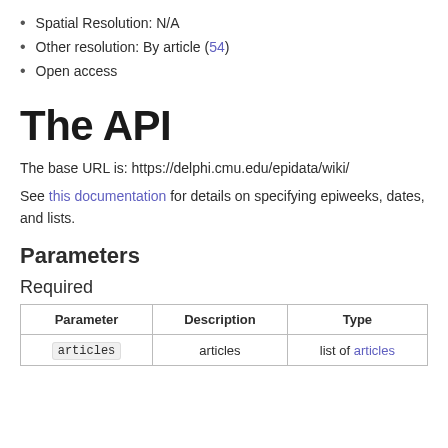Spatial Resolution: N/A
Other resolution: By article (54)
Open access
The API
The base URL is: https://delphi.cmu.edu/epidata/wiki/
See this documentation for details on specifying epiweeks, dates, and lists.
Parameters
Required
| Parameter | Description | Type |
| --- | --- | --- |
| articles | articles | list of articles |